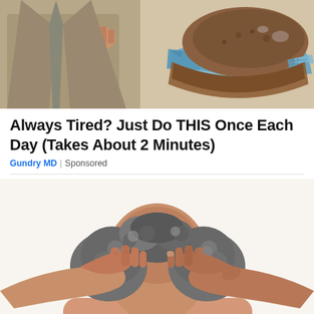[Figure (photo): Person in suit with hands near a decorative bowl or container with blue and brown elements]
Always Tired? Just Do THIS Once Each Day (Takes About 2 Minutes)
Gundry MD | Sponsored
[Figure (photo): Elderly person with gray curly hair, shown from behind, with both hands pressing against their head against a white background]